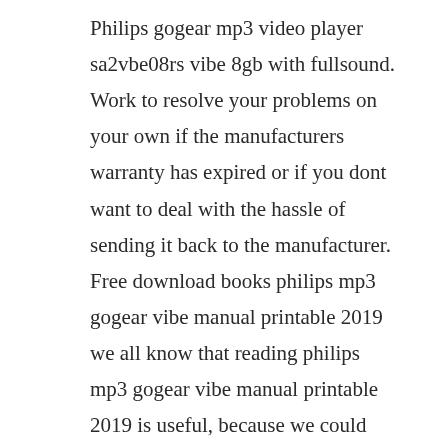Philips gogear mp3 video player sa2vbe08rs vibe 8gb with fullsound. Work to resolve your problems on your own if the manufacturers warranty has expired or if you dont want to deal with the hassle of sending it back to the manufacturer. Free download books philips mp3 gogear vibe manual printable 2019 we all know that reading philips mp3 gogear vibe manual printable 2019 is useful, because we could get information from your reading materials. Jan 04, 20 philips gogear instruction manual products and names mentioned are the property of their respective